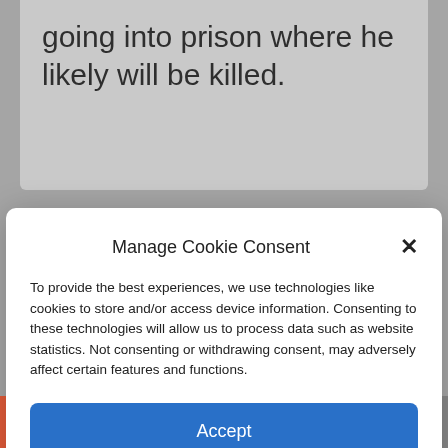going into prison where he likely will be killed.
Manage Cookie Consent
To provide the best experiences, we use technologies like cookies to store and/or access device information. Consenting to these technologies will allow us to process data such as website statistics. Not consenting or withdrawing consent, may adversely affect certain features and functions.
Accept
Cookie Policy   Privacy Policy
This is clearly looking into just an excuse to lock up somebody that's highlighting